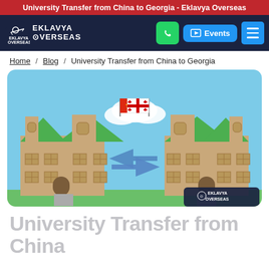University Transfer from China to Georgia - Eklavya Overseas
[Figure (logo): Eklavya Overseas logo with archer figure and text]
Home / Blog / University Transfer from China to Georgia
[Figure (illustration): Two university buildings facing each other with exchange arrows between them. Left building has Chinese flag, right building has Georgian flag. Eklavya Overseas watermark in bottom right.]
University Transfer from China to Georgia